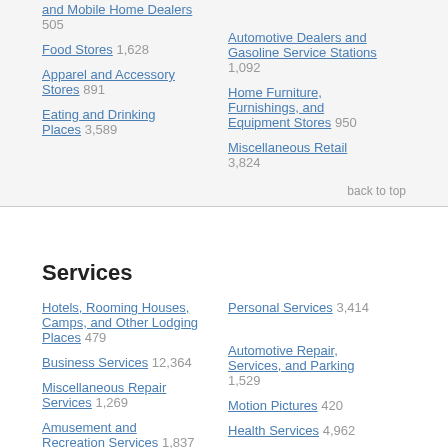and Mobile Home Dealers 505
Food Stores 1,628
Automotive Dealers and Gasoline Service Stations 1,092
Apparel and Accessory Stores 891
Home Furniture, Furnishings, and Equipment Stores 950
Eating and Drinking Places 3,589
Miscellaneous Retail 3,824
back to top
Services
Hotels, Rooming Houses, Camps, and Other Lodging Places 479
Personal Services 3,414
Business Services 12,364
Automotive Repair, Services, and Parking 1,529
Miscellaneous Repair Services 1,269
Motion Pictures 420
Amusement and Recreation Services 1,837
Health Services 4,962